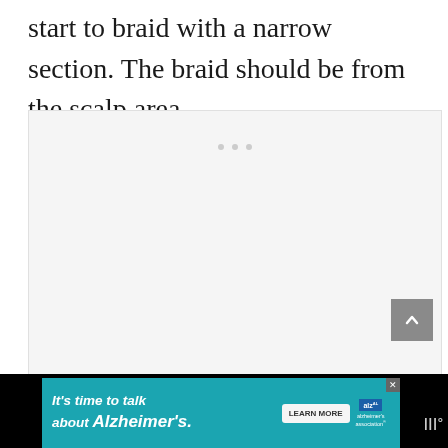start to braid with a narrow section. The braid should be from the scalp area.
[Figure (photo): Image placeholder with loading dots, shown as a light grey rectangle with three small grey dots centered near the top]
[Figure (screenshot): Black advertisement bar at the bottom containing a teal/cyan ad panel reading 'It's time to talk about Alzheimer's.' with a 'LEARN MORE' button and the Alzheimer's Association logo]